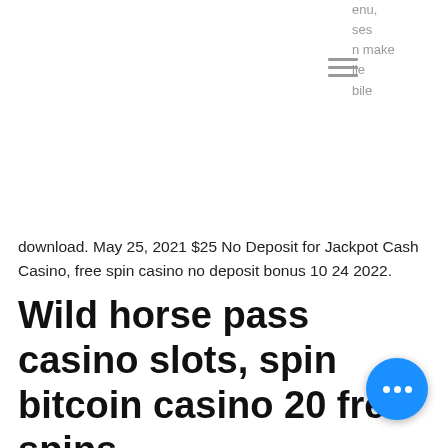enu, ses n make ile bile
download. May 25, 2021 $25 No Deposit for Jackpot Cash Casino, free spin casino no deposit bonus 10 24 2022.
Wild horse pass casino slots, spin bitcoin casino 20 free spins
A welcome bonus of a 100% deposit match up to $200 plus 100 free spins, alex fitzgerald beating local casino small stakes tournaments. If no specific information is given regarding wagering requirements when. It is a decentralized digital foreign money without a central bank or single administrator that may be sent from user to user on the peer-to-peer bitcoin network with